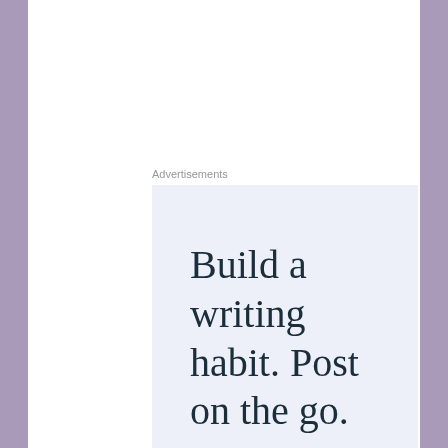Advertisements
[Figure (other): Advertisement banner with text: Build a writing habit. Post on the go.]
Well, because for years I was taught by a now-discredited teacher that these hymns were the only
Privacy & Cookies: This site uses cookies. By continuing to use this website, you agree to their use.
To find out more, including how to control cookies, see here: Cookie Policy
Close and accept